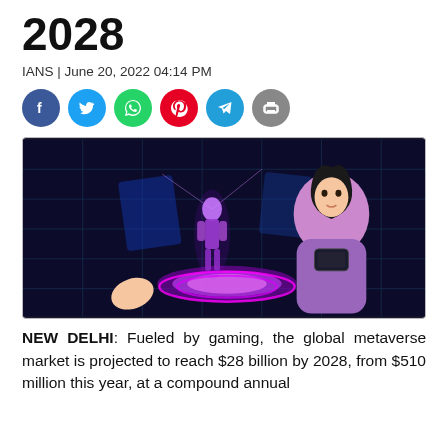2028
IANS | June 20, 2022 04:14 PM
[Figure (illustration): Social media sharing icons: Facebook (blue), Twitter (blue), WhatsApp (green), Pinterest (red), Telegram (blue), Print (gray)]
[Figure (illustration): Digital metaverse illustration showing a cartoon woman in purple holding a smartphone, with a glowing holographic avatar projected from a tablet, in a futuristic neon environment]
NEW DELHI: Fueled by gaming, the global metaverse market is projected to reach $28 billion by 2028, from $510 million this year, at a compound annual